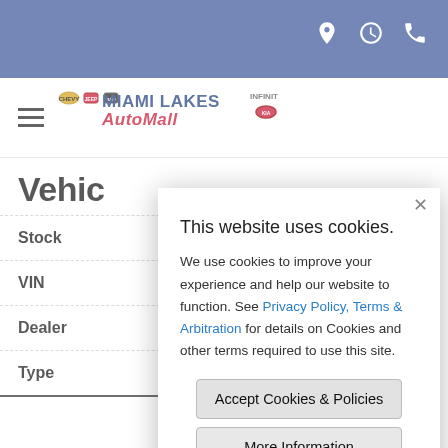[Figure (screenshot): Miami Lakes AutoMall website header with dark blue top navigation bar containing location, clock, and phone icons, followed by hamburger menu and Miami Lakes AutoMall logo]
Vehic
| Label | Value |
| --- | --- |
| Stock |  |
| VIN |  |
| Dealer | olet |
| Type |  |
[Figure (screenshot): Cookie consent modal dialog with title 'This website uses cookies.', body text about cookies and privacy policy, two buttons: 'Accept Cookies & Policies' and 'More Information', and a Privacy Policy link at the bottom.]